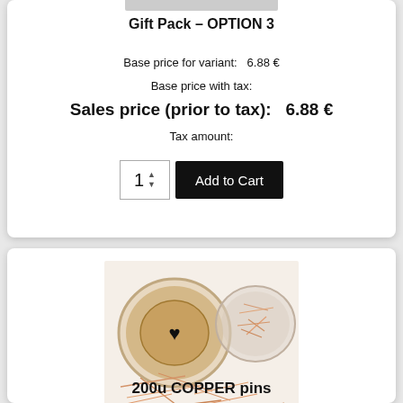Gift Pack – OPTION 3
Base price for variant:    6.88 €
Base price with tax:
Sales price (prior to tax):    6.88 €
Tax amount:
[Figure (screenshot): Quantity selector showing 1 with up/down arrows and black Add to Cart button]
[Figure (photo): Copper pins product photo showing two containers with copper/bronze colored straight pins spilled out on white background]
200u COPPER pins